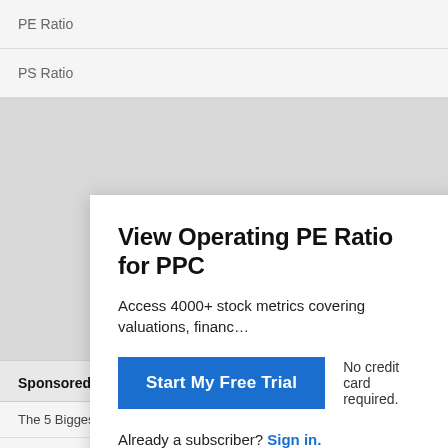PE Ratio
PS Ratio
View Operating PE Ratio for PPC
Access 4000+ stock metrics covering valuations, financials…
Start My Free Trial
No credit card required.
Already a subscriber? Sign in.
Normalized PE Ratio
Sponsored Financial Content
The 5 Biggest Money Secrets Most Rich People Won't Tell You  The Penny Ho…
Get Insights Into Your Money Habits. Take This Money Personality Quiz